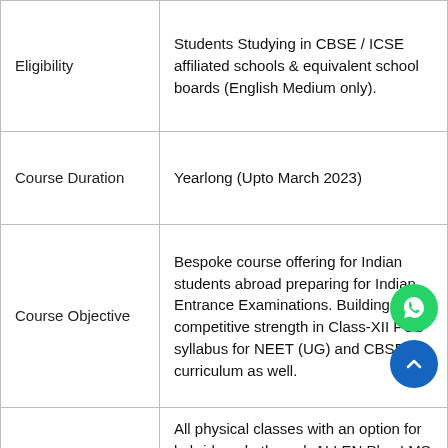| Eligibility | Students Studying in CBSE / ICSE affiliated schools & equivalent school boards (English Medium only). |
| Course Duration | Yearlong (Upto March 2023) |
| Course Objective | Bespoke course offering for Indian students abroad preparing for Indian Entrance Examinations. Building competitive strength in Class-XII PCB syllabus for NEET (UG) and CBSE curriculum as well. |
| Delivery Mode | All physical classes with an option for hybrid mode through ALLEN Plus LMS online learning platform. Courses are being offered at Al Nahda & Bur Dubai Campus. Same courses are being offered at both the locations, with an option to choose either regular or weekend batches. |